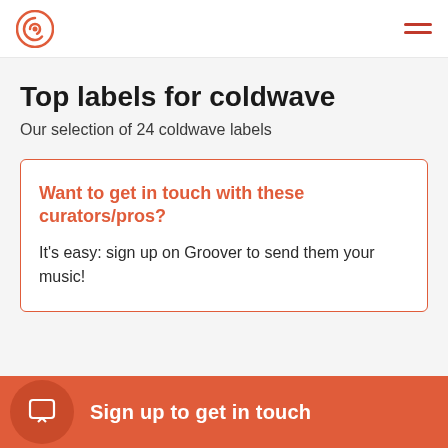Groover logo and navigation menu
Top labels for coldwave
Our selection of 24 coldwave labels
Want to get in touch with these curators/pros?
It's easy: sign up on Groover to send them your music!
Sign up to get in touch